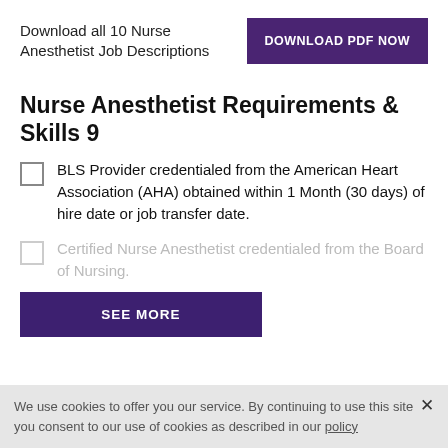Download all 10 Nurse Anesthetist Job Descriptions
DOWNLOAD PDF NOW
Nurse Anesthetist Requirements & Skills 9
BLS Provider credentialed from the American Heart Association (AHA) obtained within 1 Month (30 days) of hire date or job transfer date.
Certified Nurse Anesthetist credentialed from the Board of Nursing.
SEE MORE
credentialed from the Board of Nursing.
We use cookies to offer you our service. By continuing to use this site you consent to our use of cookies as described in our policy